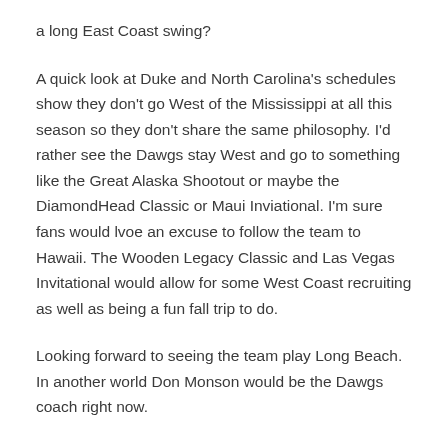a long East Coast swing?
A quick look at Duke and North Carolina's schedules show they don't go West of the Mississippi at all this season so they don't share the same philosophy. I'd rather see the Dawgs stay West and go to something like the Great Alaska Shootout or maybe the DiamondHead Classic or Maui Inviational. I'm sure fans would lvoe an excuse to follow the team to Hawaii. The Wooden Legacy Classic and Las Vegas Invitational would allow for some West Coast recruiting as well as being a fun fall trip to do.
Looking forward to seeing the team play Long Beach. In another world Don Monson would be the Dawgs coach right now.